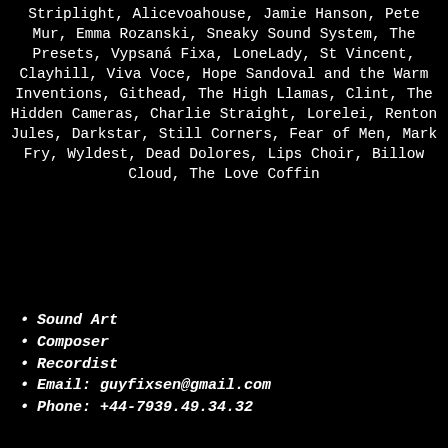Striplight, Alicevoahouse, Jamie Hanson, Pete Mur, Emma Rozanski, Sneaky Sound System, The Presets, Vypsaná Fixa, LoneLady, St Vincent, Clayhill, Viva Voce, Hope Sandoval and the Warm Inventions, Githead, The High Llamas, Clint, The Hidden Cameras, Charlie Straight, Lorelei, Renton Jules, Darkstar, Still Corners, Fear of Men, Mark Fry, Wyldest, Dead Dolores, Lips Choir, Billow Cloud, The Love Coffin
Sound Art
Composer
Recordist
Email: guyfixsen@gmail.com
Phone: +44-7939.49.34.32